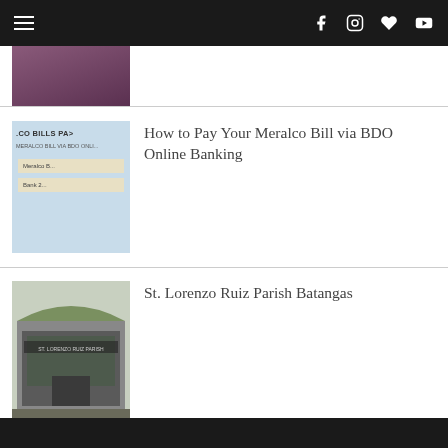Navigation bar with hamburger menu, Facebook, Instagram, heart, and YouTube icons
[Figure (photo): Partial thumbnail image of a person, cropped, purple background]
[Figure (screenshot): Thumbnail showing Meralco Bills Payment interface with BDO Online Banking labels]
How to Pay Your Meralco Bill via BDO Online Banking
[Figure (photo): Thumbnail of St. Lorenzo Ruiz Parish building in Batangas, modern architecture with green roof]
St. Lorenzo Ruiz Parish Batangas
Bottom dark navigation bar